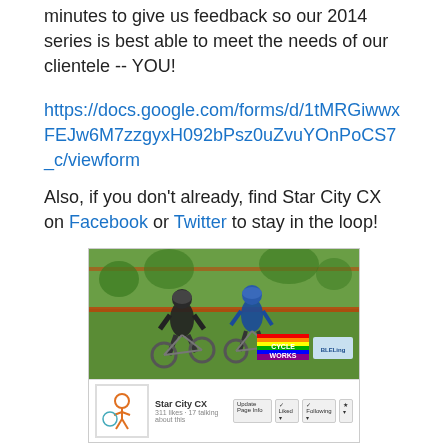minutes to give us feedback so our 2014 series is best able to meet the needs of our clientele -- YOU!
https://docs.google.com/forms/d/1tMRGiwwxFEJw6M7zzgyxH092bPsz0uZvuYOnPoCS7_c/viewform
Also, if you don't already, find Star City CX on Facebook or Twitter to stay in the loop!
[Figure (screenshot): Facebook page screenshot for Star City CX showing cyclists racing in a cyclocross event as the cover photo, with the Star City CX logo and page name visible below.]
elisabeth at 2:30 PM   No comments:
Share